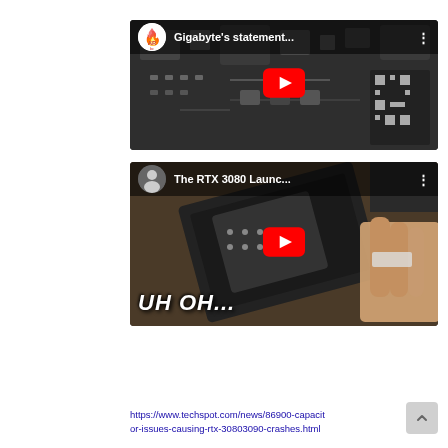[Figure (screenshot): YouTube video thumbnail for 'Gigabyte's statement...' showing PCB circuit board background with play button and channel icon with flame logo]
[Figure (screenshot): YouTube video thumbnail for 'The RTX 3080 Launc...' showing a GPU board being held with 'UH OH...' text overlay and play button, with channel avatar of a man]
https://www.techspot.com/news/86900-capacitor-issues-causing-rtx-30803090-crashes.html